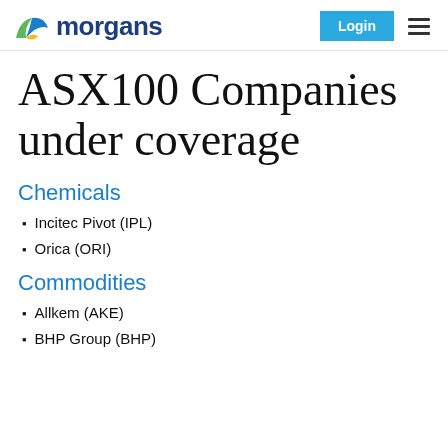morgans | Login
ASX100 Companies under coverage
Chemicals
Incitec Pivot (IPL)
Orica (ORI)
Commodities
Allkem (AKE)
BHP Group (BHP)